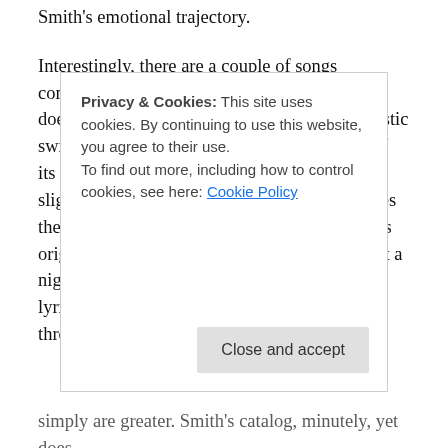Smith's emotional trajectory.
Interestingly, there are a couple of songs commonly associated with Sinatra here. Smith does I Could Write a Book as ebullient, optimistic swing: the song feels like it's about jump out of its shoes, but Smith holds it in check over a slightly ahead-of-the-beat bassline And she does the title track a tad faster than the Ol' Blue Eyes original, echoing the bartender's desire to call it a night as much as the wee-hours angst of the lyrics, Baker with her every step of the way through an alternately woozy and vividly brooding interpretation.
Privacy & Cookies: This site uses cookies. By continuing to use this website, you agree to their use. To find out more, including how to control cookies, see here: Cookie Policy
Close and accept
simply are greater. Smith's catalog, minutely, yet does,